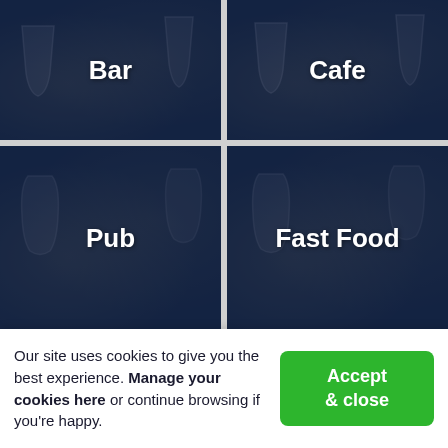[Figure (screenshot): Screenshot of a website showing a 2x2 grid of venue category tiles: Bar, Cafe, Pub, Fast Food — each with a dark blue overlay on a bar/restaurant background photo]
All: Lincoln cuisine options
Lincoln Restaurants
Our site uses cookies to give you the best experience. Manage your cookies here or continue browsing if you're happy.